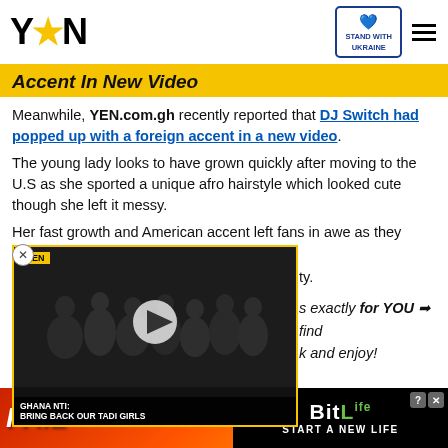YEN — STAND WITH UKRAINE
Accent In New Video
Meanwhile, YEN.com.gh recently reported that DJ Switch had popped up with a foreign accent in a new video.
The young lady looks to have grown quickly after moving to the U.S as she sported a unique afro hairstyle which looked cute though she left it messy.
Her fast growth and American accent left fans in awe as they reacted to the video with some funny comments whiles ...ty.
[Figure (screenshot): YEN video player showing armed soldiers, with caption GHANA NTI: BRING BACK OUR TADI GIRLS]
s exactly for YOU → find k and enjoy!
[Figure (screenshot): BitLife advertisement banner with FAIL text and START A NEW LIFE call to action]